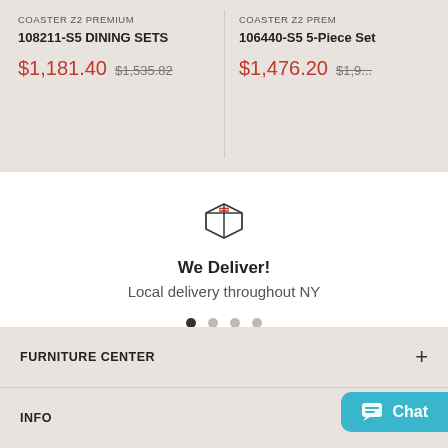COASTER Z2 PREMIUM
108211-S5 DINING SETS
$1,181.40  $1,535.82
COASTER Z2 PREMIUM
106440-S5 5-Piece Set
$1,476.20  $1,9...
[Figure (illustration): Box/package delivery icon outline]
We Deliver!
Local delivery throughout NY
FURNITURE CENTER
INFO